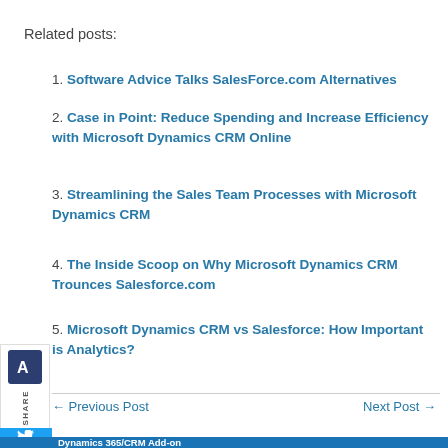Related posts:
Software Advice Talks SalesForce.com Alternatives
Case in Point: Reduce Spending and Increase Efficiency with Microsoft Dynamics CRM Online
Streamlining the Sales Team Processes with Microsoft Dynamics CRM
The Inside Scoop on Why Microsoft Dynamics CRM Trounces Salesforce.com
Microsoft Dynamics CRM vs Salesforce: How Important is Analytics?
← Previous Post
Next Post →
Dynamics 365/CRM Add-on